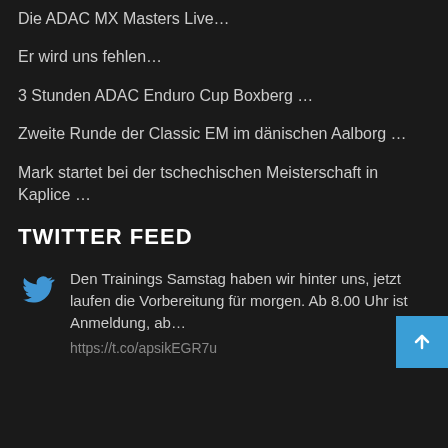Die ADAC MX Masters Live…
Er wird uns fehlen…
3 Stunden ADAC Enduro Cup Boxberg …
Zweite Runde der Classic EM im dänischen Aalborg …
Mark startet bei der tschechischen Meisterschaft in Kaplice …
TWITTER FEED
Den Trainings Samstag haben wir hinter uns, jetzt laufen die Vorbereitung für morgen. Ab 8.00 Uhr ist Anmeldung, ab… https://t.co/apsikEGR7u